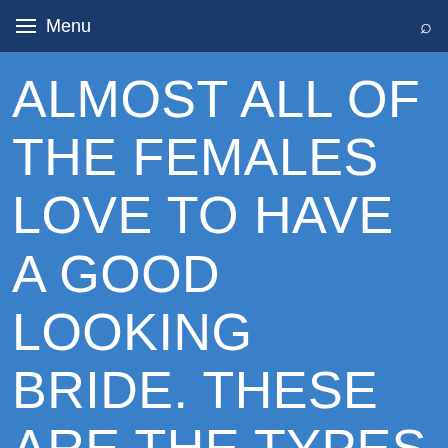≡ Menu
ALMOST ALL OF THE FEMALES LOVE TO HAVE A GOOD LOOKING BRIDE. THESE ARE THE TYPES WHO SEEM TO ALLOW THE MARRIAGE FOR BEING CELEBRATED. THE